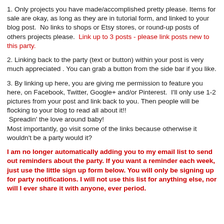1. Only projects you have made/accomplished pretty please. Items for sale are okay, as long as they are in tutorial form, and linked to your blog post.  No links to shops or Etsy stores, or round-up posts of others projects please.  Link up to 3 posts - please link posts new to this party.
2. Linking back to the party (text or button) within your post is very much appreciated . You can grab a button from the side bar if you like.
3. By linking up here, you are giving me permission to feature you here, on Facebook, Twitter, Google+ and/or Pinterest.  I'll only use 1-2 pictures from your post and link back to you. Then people will be flocking to your blog to read all about it!!  Spreadin' the love around baby!
Most importantly, go visit some of the links because otherwise it wouldn't be a party would it?
I am no longer automatically adding you to my email list to send out reminders about the party. If you want a reminder each week, just use the little sign up form below. You will only be signing up for party notifications. I will not use this list for anything else, nor will I ever share it with anyone, ever period.